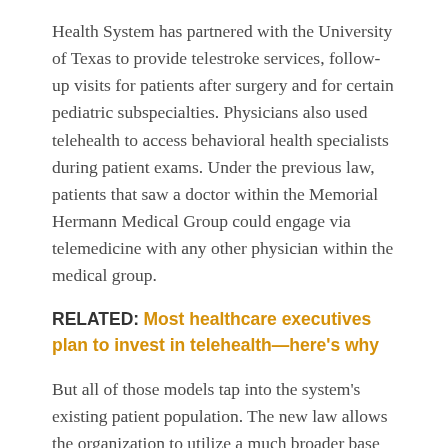Health System has partnered with the University of Texas to provide telestroke services, follow-up visits for patients after surgery and for certain pediatric subspecialties. Physicians also used telehealth to access behavioral health specialists during patient exams. Under the previous law, patients that saw a doctor within the Memorial Hermann Medical Group could engage via telemedicine with any other physician within the medical group.
RELATED: Most healthcare executives plan to invest in telehealth—here's why
But all of those models tap into the system's existing patient population. The new law allows the organization to utilize a much broader base of independent physicians that work closely with the system's accountable care organization.